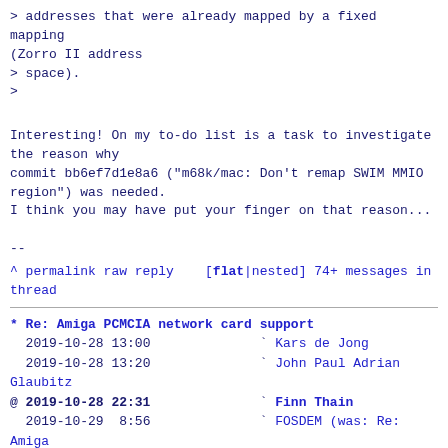> addresses that were already mapped by a fixed mapping
(Zorro II address
> space).
>
Interesting! On my to-do list is a task to investigate
the reason why
commit bb6ef7d1e8a6 ("m68k/mac: Don't remap SWIM MMIO
region") was needed.
I think you may have put your finger on that reason...
--
^ permalink raw reply   [flat|nested] 74+ messages in
thread
* Re: Amiga PCMCIA network card support
  2019-10-28 13:00              ` Kars de Jong
  2019-10-28 13:20              ` John Paul Adrian Glaubitz
@ 2019-10-28 22:31              ` Finn Thain
  2019-10-29  8:56              ` FOSDEM (was: Re: Amiga PCMCIA network card support) Geert Uytterhoeven
  2 siblings, 0 replies; 74+ messages in thread
From: Finn Thain @ 2019-10-28 22:31 UTC (permalink /
raw)
  To: Kars de Jong
  Cc: John Paul Adrian Glaubitz, Andreas 'count' Kotes,
linux-m68k